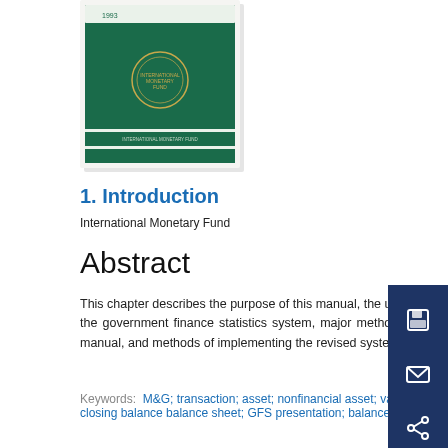[Figure (illustration): Book cover of an IMF publication with green cover, IMF logo, and text '1993' and 'INTERNATIONAL MONETARY FUND']
1. Introduction
International Monetary Fund
Abstract
This chapter describes the purpose of this manual, the uses of government finance statistics, the structure of the government finance statistics system, major methodological changes from the previous edition of this manual, and methods of implementing the revised system.
Keywords: M&G; transaction; asset; nonfinancial asset; value; government unit; expense transaction; GFS title; closing balance balance sheet; GFS presentation; balance sheet information; Financial